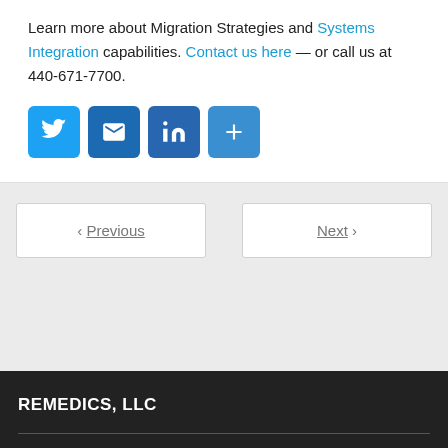Learn more about Migration Strategies and Systems Integration capabilities. Contact us here — or call us at 440-671-7700.
[Figure (other): Row of four social sharing icon buttons: Twitter (bird icon), Email (envelope icon), LinkedIn (in icon), More/Share (plus icon)]
< Previous
Next >
REMEDICS, LLC